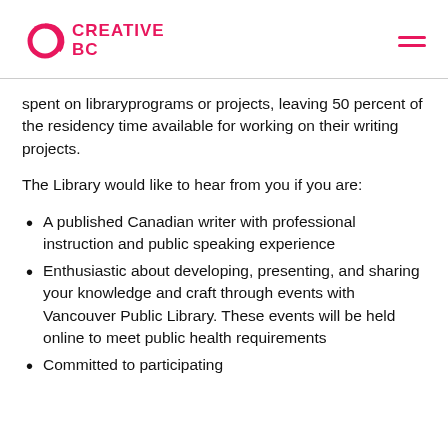Creative BC
spent on libraryprograms or projects, leaving 50 percent of the residency time available for working on their writing projects.
The Library would like to hear from you if you are:
A published Canadian writer with professional instruction and public speaking experience
Enthusiastic about developing, presenting, and sharing your knowledge and craft through events with Vancouver Public Library. These events will be held online to meet public health requirements
Committed to participating